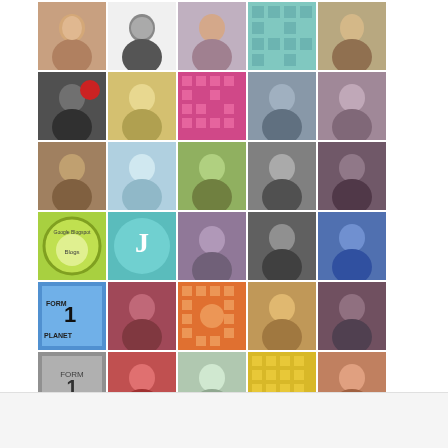[Figure (photo): A 5-column by 8-row grid of user avatar profile pictures. Some are photos of people (men and women of various ages), some are decorative quilt-pattern graphics (teal, pink, orange, gold, green, gray), some are logos or icons. The grid spans most of the page.]